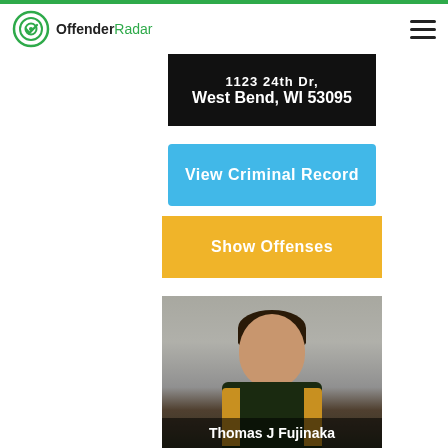OffenderRadar
West Bend, WI 53095
View Criminal Record
Show Offenses
[Figure (photo): Mugshot photo of Thomas J Fujinaka, a middle-aged man with dark hair wearing a dark jacket with yellow/gold accents]
Thomas J Fujinaka